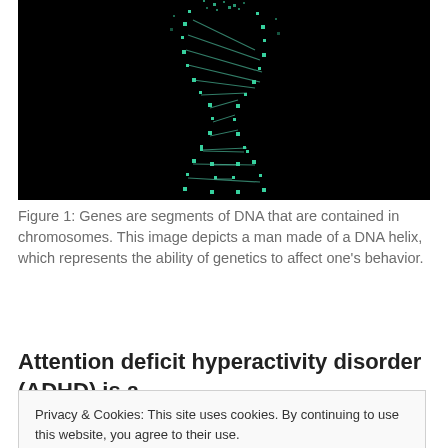[Figure (photo): A DNA double helix rendered in glowing cyan/teal against a black background, depicting a man made of a DNA helix structure]
Figure 1: Genes are segments of DNA that are contained in chromosomes. This image depicts a man made of a DNA helix, which represents the ability of genetics to affect one's behavior.
Attention deficit hyperactivity disorder (ADHD) is a
Privacy & Cookies: This site uses cookies. By continuing to use this website, you agree to their use.
To find out more, including how to control cookies, see here: Cookie Policy
with ADHD. By researching and interpreting data from